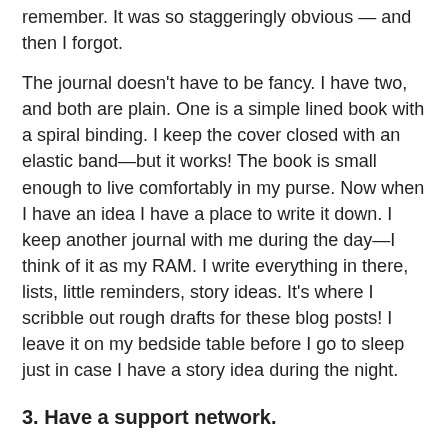remember. It was so staggeringly obvious — and then I forgot.
The journal doesn't have to be fancy. I have two, and both are plain. One is a simple lined book with a spiral binding. I keep the cover closed with an elastic band—but it works! The book is small enough to live comfortably in my purse. Now when I have an idea I have a place to write it down. I keep another journal with me during the day—I think of it as my RAM. I write everything in there, lists, little reminders, story ideas. It's where I scribble out rough drafts for these blog posts! I leave it on my bedside table before I go to sleep just in case I have a story idea during the night.
3. Have a support network.
I have people in my life who know me well enough and like me well enough to badger me, to be the two year old in the backseat: Are you done yet? Are you done yet? Are you ...
Yes, you don't want too much of that but I can't tell you how many times just knowing there were people who would realize I was slacking off, how much that motivated me to